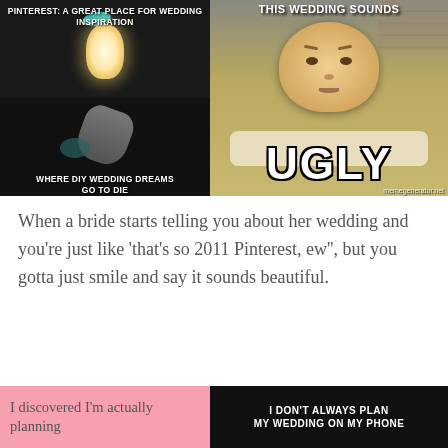[Figure (illustration): Left meme: Two-panel. Top panel shows a decorative mason jar with fairy lights and a teal ribbon bow against a dark background with text 'PINTEREST: A GREAT PLACE FOR WEDDING INSPIRATION'. Bottom panel shows a messy, broken version of the same jar with text 'ALSO A PLACE' and 'WHERE DIY WEDDING DREAMS GO TO DIE'.]
[Figure (illustration): Right meme: Photo of an unhappy fat baby lying on their stomach with furrowed brow, looking displeased. Top text: 'THIS WEDDING SOUNDS'. Large bottom text: 'UGLY'. Credit: memegenerator.net]
When a bride starts telling you about her wedding and you're just like 'that's so 2011 Pinterest, ew'', but you gotta just smile and say it sounds beautiful.
[Figure (illustration): Bottom-left pink box beginning text: 'I discovered I'm actually planning']
[Figure (illustration): Bottom-right dark meme box with text: 'I DON'T ALWAYS PLAN MY WEDDING ON MY PHONE']